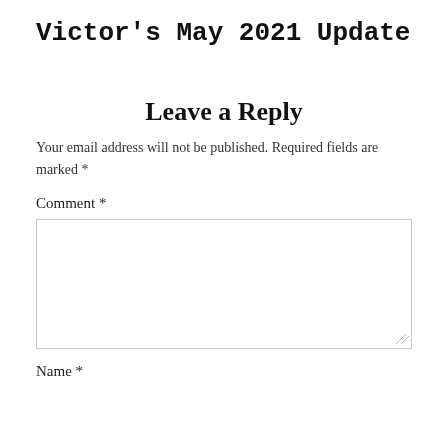Victor's May 2021 Update
Leave a Reply
Your email address will not be published. Required fields are marked *
Comment *
Name *